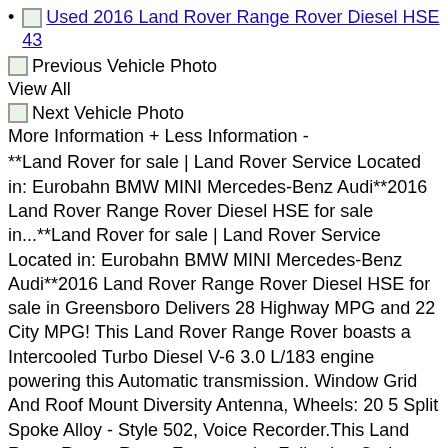Used 2016 Land Rover Range Rover Diesel HSE 43
Previous Vehicle Photo
View All
Next Vehicle Photo
More Information + Less Information -
**Land Rover for sale | Land Rover Service Located in: Eurobahn BMW MINI Mercedes-Benz Audi**2016 Land Rover Range Rover Diesel HSE for sale in...**Land Rover for sale | Land Rover Service Located in: Eurobahn BMW MINI Mercedes-Benz Audi**2016 Land Rover Range Rover Diesel HSE for sale in Greensboro Delivers 28 Highway MPG and 22 City MPG! This Land Rover Range Rover boasts a Intercooled Turbo Diesel V-6 3.0 L/183 engine powering this Automatic transmission. Window Grid And Roof Mount Diversity Antenna, Wheels: 20 5 Split Spoke Alloy - Style 502, Voice Recorder.This Land Rover Range Rover Features the Following Options Voice Activated Dual Zone Front Automatic Air Conditioning w/Steering Wheel Controls, Valet Function, Trunk/Hatch Auto-Latch, Trip computer, Transmission: 8-Speed